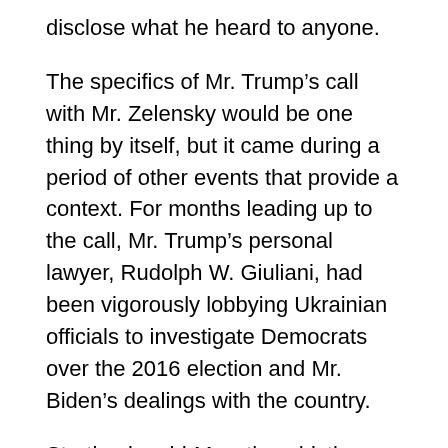disclose what he heard to anyone.
The specifics of Mr. Trump’s call with Mr. Zelensky would be one thing by itself, but it came during a period of other events that provide a context. For months leading up to the call, Mr. Trump’s personal lawyer, Rudolph W. Giuliani, had been vigorously lobbying Ukrainian officials to investigate Democrats over the 2016 election and Mr. Biden’s dealings with the country.
Starting in mid-May, the whistle-blower wrote, he began hearing from other American officials “that they were deeply concerned by what they viewed as Mr. Giuliani’s circumvention of national security decision making processes to